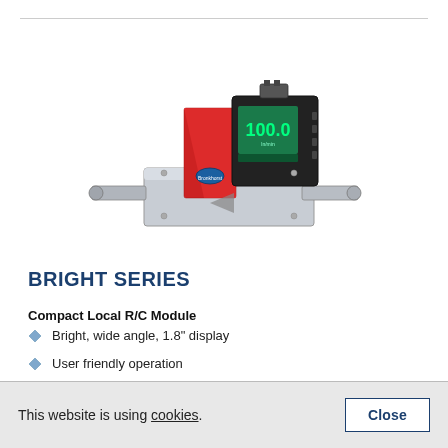[Figure (photo): Mass flow controller device - Bright Series Compact Local R/C Module with 1.8 inch display showing 100.0, silver metal body with fittings on both sides, red accent panel, and Bronkhorst branding]
BRIGHT SERIES
Compact Local R/C Module
Bright, wide angle, 1.8" display
User friendly operation
Indication/operation/configuration
This website is using cookies.